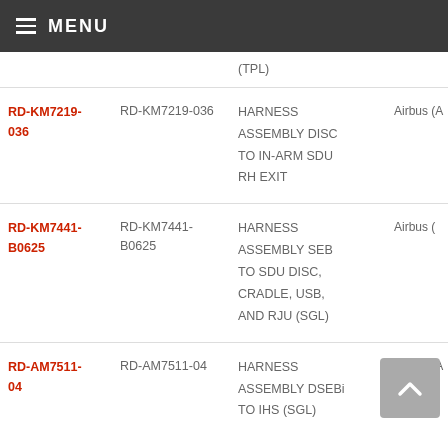MENU
|  |  |  |  |
| --- | --- | --- | --- |
|  |  | (TPL) |  |
| RD-KM7219-036 | RD-KM7219-036 | HARNESS ASSEMBLY DISC TO IN-ARM SDU RH EXIT | Airbus (A |
| RD-KM7441-B0625 | RD-KM7441-B0625 | HARNESS ASSEMBLY SEB TO SDU DISC, CRADLE, USB, AND RJU (SGL) | Airbus ( |
| RD-AM7511-04 | RD-AM7511-04 | HARNESS ASSEMBLY DSEBi TO IHS (SGL) | Airbus (A |